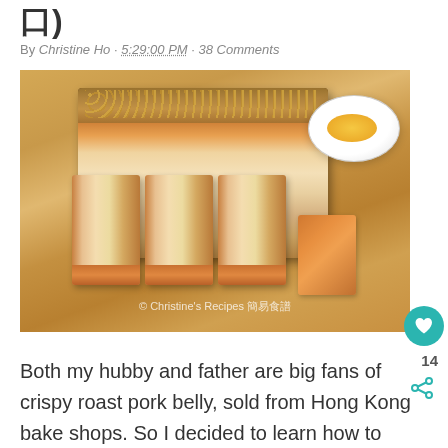口)
By Christine Ho · 5:29:00 PM · 38 Comments
[Figure (photo): Sliced crispy roast pork belly on a wooden cutting board with a small white bowl of yellow condiment. Watermark reads: © Christine's Recipes 簡易食譜]
Both my hubby and father are big fans of crispy roast pork belly, sold from Hong Kong bake shops. So I decided to learn how to make some not long after I